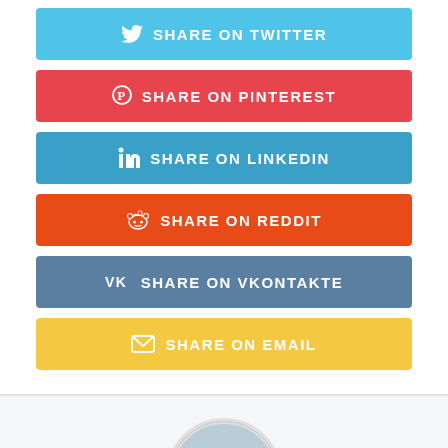[Figure (infographic): Social share buttons: Share on Twitter (light blue), Share on Pinterest (red), Share on LinkedIn (blue), Share on Reddit (orange-red), Share on VKontakte (steel blue), Share on Email (yellow)]
[Figure (photo): Circular avatar photo of Sophie Ireland, a woman standing on a beach]
Sophie Ireland
[Figure (infographic): Blue verified checkmark icon below Sophie Ireland's name]